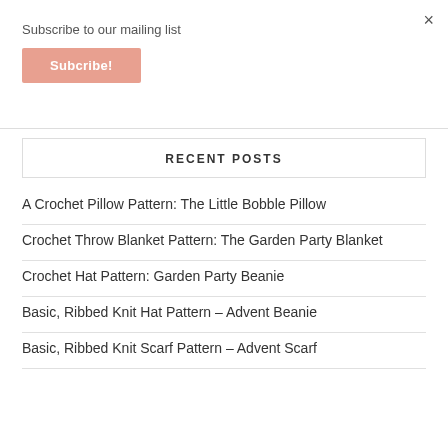×
Subscribe to our mailing list
Subcribe!
RECENT POSTS
A Crochet Pillow Pattern: The Little Bobble Pillow
Crochet Throw Blanket Pattern: The Garden Party Blanket
Crochet Hat Pattern: Garden Party Beanie
Basic, Ribbed Knit Hat Pattern – Advent Beanie
Basic, Ribbed Knit Scarf Pattern – Advent Scarf